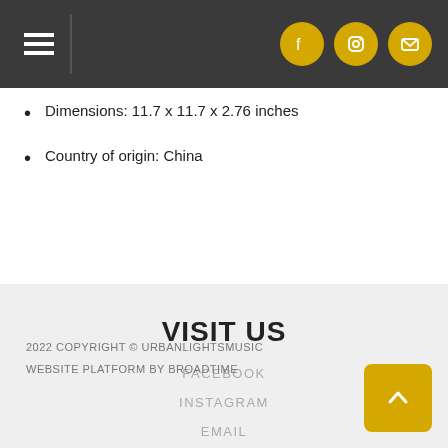Navigation bar with hamburger menu and social icons (Facebook, Instagram, Email)
Dimensions: 11.7 x 11.7 x 2.76 inches
Country of origin: China
VISIT US
FACEBOOK
INSTAGRAM
EMAIL
2022 COPYRIGHT © URBANLIGHTSMUSIC
WEBSITE PLATFORM BY BROADTIME